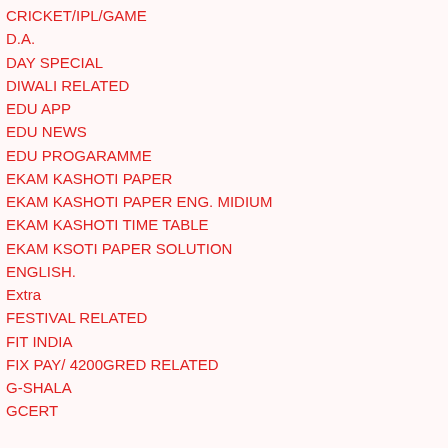CRICKET/IPL/GAME
D.A.
DAY SPECIAL
DIWALI RELATED
EDU APP
EDU NEWS
EDU PROGARAMME
EKAM KASHOTI PAPER
EKAM KASHOTI PAPER ENG. MIDIUM
EKAM KASHOTI TIME TABLE
EKAM KSOTI PAPER SOLUTION
ENGLISH.
Extra
FESTIVAL RELATED
FIT INDIA
FIX PAY/ 4200GRED RELATED
G-SHALA
GCERT